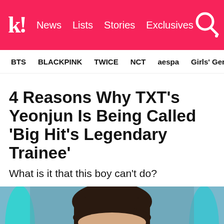k! News  Lists  Stories  Exclusives
BTS  BLACKPINK  TWICE  NCT  aespa  Girls' Generation
4 Reasons Why TXT's Yeonjun Is Being Called 'Big Hit's Legendary Trainee'
What is it that this boy can't do?
[Figure (photo): Close-up photo of TXT's Yeonjun, a young Korean man with dark bowl-cut hair, looking directly at camera, blurred colorful background with teal/cyan lights]